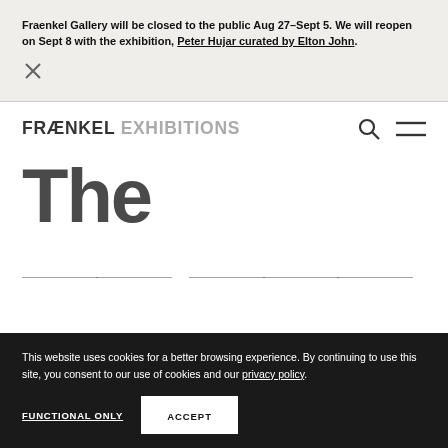Fraenkel Gallery will be closed to the public Aug 27–Sept 5. We will reopen on Sept 8 with the exhibition, Peter Hujar curated by Elton John.
FRÆNKEL EXHIBITIONS
The
This website uses cookies for a better browsing experience. By continuing to use this site, you consent to our use of cookies and our privacy policy.
FUNCTIONAL ONLY   ACCEPT